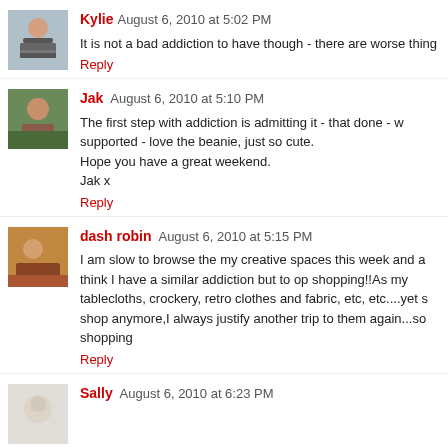[Figure (photo): Avatar photo of Kylie - woman in striped shirt]
Kylie August 6, 2010 at 5:02 PM
It is not a bad addiction to have though - there are worse thing
Reply
[Figure (photo): Avatar photo of Jak - woman outdoors]
Jak August 6, 2010 at 5:10 PM
The first step with addiction is admitting it - that done - w supported - love the beanie, just so cute.
Hope you have a great weekend.
Jak x
Reply
[Figure (photo): Avatar photo of dash robin]
dash robin August 6, 2010 at 5:15 PM
I am slow to browse the my creative spaces this week and a think I have a similar addiction but to op shopping!!As my tablecloths, crockery, retro clothes and fabric, etc, etc....yet s shop anymore,I always justify another trip to them again...so shopping
Reply
[Figure (photo): Avatar photo of Sally]
Sally August 6, 2010 at 6:23 PM